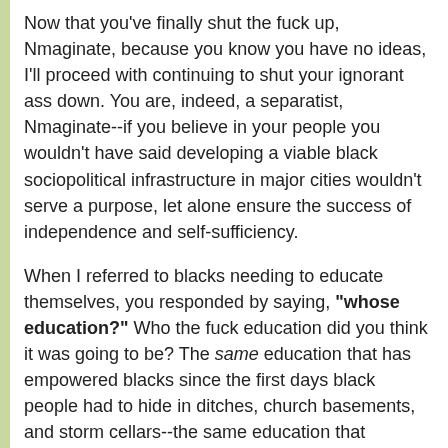Now that you've finally shut the fuck up, Nmaginate, because you know you have no ideas, I'll proceed with continuing to shut your ignorant ass down. You are, indeed, a separatist, Nmaginate--if you believe in your people you wouldn't have said developing a viable black sociopolitical infrastructure in major cities wouldn't serve a purpose, let alone ensure the success of independence and self-sufficiency.
When I referred to blacks needing to educate themselves, you responded by saying, "whose education?" Who the fuck education did you think it was going to be? The same education that has empowered blacks since the first days black people had to hide in ditches, church basements, and storm cellars--the same education that empowered every prominent black in the history of the United States.